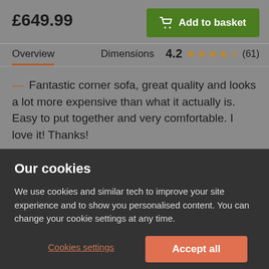£649.99
Add to basket
Overview
Dimensions
4.2 ★★★★☆ (61)
— Fantastic corner sofa, great quality and looks a lot more expensive than what it actually is. Easy to put together and very comfortable. I love it! Thanks!
Our cookies
We use cookies and similar tech to improve your site experience and to show you personalised content. You can change your cookie settings at any time.
Cookies settings
Accept all